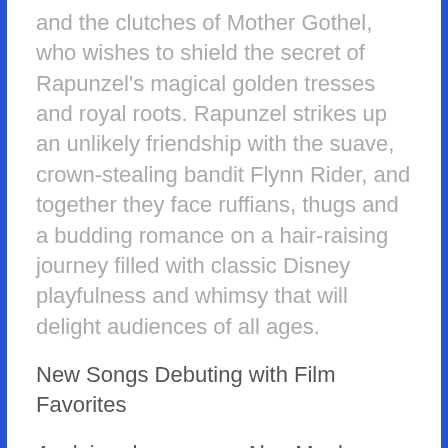and the clutches of Mother Gothel, who wishes to shield the secret of Rapunzel's magical golden tresses and royal roots. Rapunzel strikes up an unlikely friendship with the suave, crown-stealing bandit Flynn Rider, and together they face ruffians, thugs and a budding romance on a hair-raising journey filled with classic Disney playfulness and whimsy that will delight audiences of all ages.
New Songs Debuting with Film Favorites
Acclaimed composer Alan Menken ("The Little Mermaid," "Beauty and the Beast") and lyricist Glenn Slater, the prolific pair